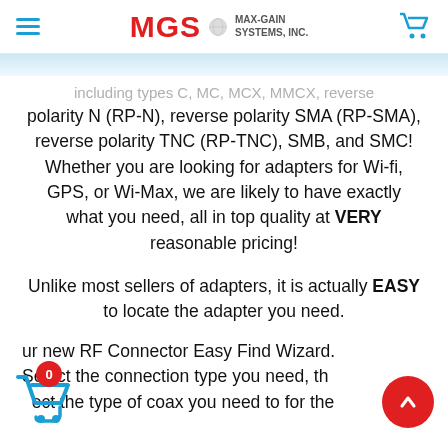MGS MAX-GAIN SYSTEMS, INC.
including types C, MO, MCX, MMCX, reverse polarity N (RP-N), reverse polarity SMA (RP-SMA), reverse polarity TNC (RP-TNC), SMB, and SMC! Whether you are looking for adapters for Wi-fi, GPS, or Wi-Max, we are likely to have exactly what you need, all in top quality at VERY reasonable pricing!
Unlike most sellers of adapters, it is actually EASY to locate the adapter you need.
ur new RF Connector Easy Find Wizard. Select the connection type you need, then select the type of coax you need to for the